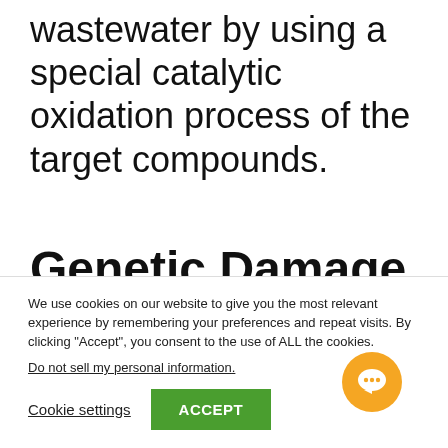wastewater by using a special catalytic oxidation process of the target compounds.
Genetic Damage
We use cookies on our website to give you the most relevant experience by remembering your preferences and repeat visits. By clicking “Accept”, you consent to the use of ALL the cookies.
Do not sell my personal information.
Cookie settings
ACCEPT